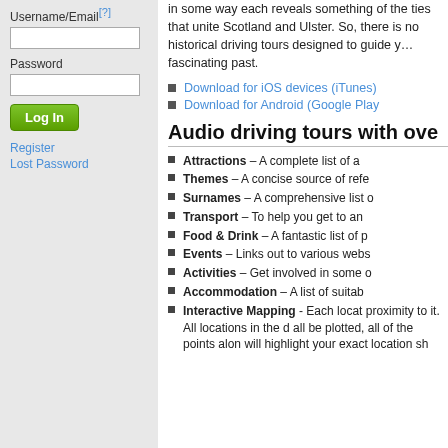Username/Email[?]
Password
Log In
Register
Lost Password
in some way each reveals something of the ties that unite Scotland and Ulster. So, there is no historical driving tours designed to guide you fascinating past.
Download for iOS devices (iTunes)
Download for Android (Google Play
Audio driving tours with ove
Attractions – A complete list of a
Themes – A concise source of refe
Surnames – A comprehensive list o
Transport – To help you get to an
Food & Drink – A fantastic list of p
Events – Links out to various webs
Activities – Get involved in some o
Accommodation – A list of suitab
Interactive Mapping - Each locat proximity to it. All locations in the d all be plotted, all of the points alon will highlight your exact location sh